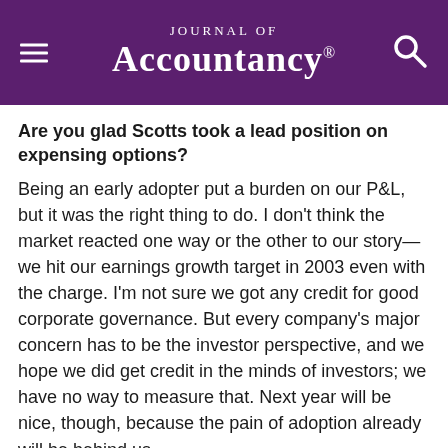Journal of Accountancy
Are you glad Scotts took a lead position on expensing options?
Being an early adopter put a burden on our P&L, but it was the right thing to do. I don't think the market reacted one way or the other to our story—we hit our earnings growth target in 2003 even with the charge. I'm not sure we got any credit for good corporate governance. But every company's major concern has to be the investor perspective, and we hope we did get credit in the minds of investors; we have no way to measure that. Next year will be nice, though, because the pain of adoption already will be behind us.
Any advice for your fellow CPAs implementing Statement no. 123(R) for the first time?
I suspect that in the first year companies will present pro forma earnings with and without the charge. But as they ramp this up over some vesting period I can't imagine that many will be able to ask investors to accept this as a reason